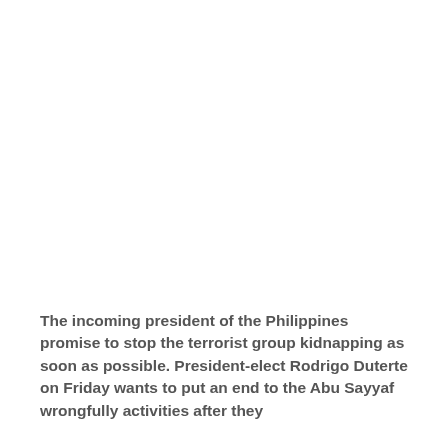The incoming president of the Philippines promise to stop the terrorist group kidnapping as soon as possible. President-elect Rodrigo Duterte on Friday wants to put an end to the Abu Sayyaf wrongfully activities after they